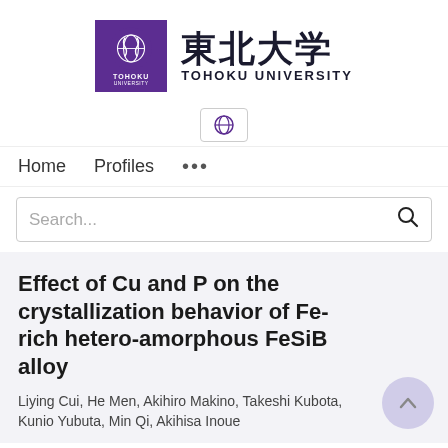[Figure (logo): Tohoku University logo: purple square with white globe/snake emblem and 'TOHOKU UNIVERSITY' text, beside large Japanese characters 東北大学 and 'TOHOKU UNIVERSITY' in English]
[Figure (logo): Small globe/language icon button with border]
Home   Profiles   ...
Search...
Effect of Cu and P on the crystallization behavior of Fe-rich hetero-amorphous FeSiB alloy
Liying Cui, He Men, Akihiro Makino, Takeshi Kubota, Kunio Yubuta, Min Qi, Akihisa Inoue